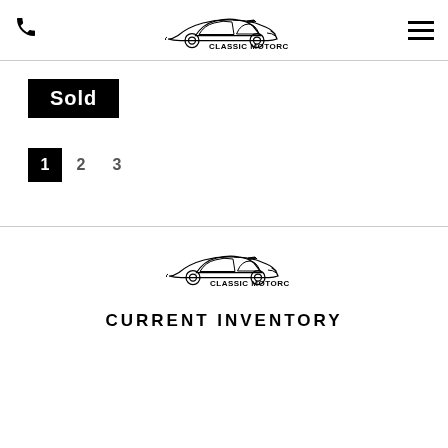Classic Motorcars header with phone icon, logo, and hamburger menu
Sold
1 2 3
[Figure (logo): Classic Motorcars logo with sports car silhouette]
CURRENT INVENTORY